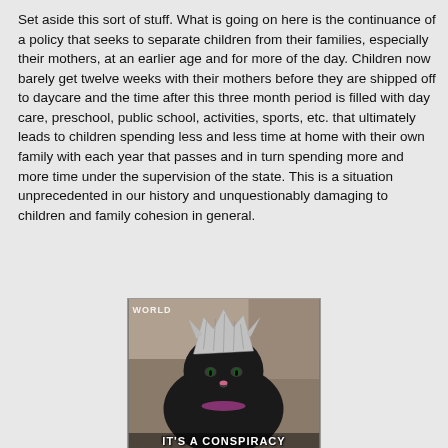Set aside this sort of stuff. What is going on here is the continuance of a policy that seeks to separate children from their families, especially their mothers, at an earlier age and for more of the day. Children now barely get twelve weeks with their mothers before they are shipped off to daycare and the time after this three month period is filled with day care, preschool, public school, activities, sports, etc. that ultimately leads to children spending less and less time at home with their own family with each year that passes and in turn spending more and more time under the supervision of the state. This is a situation unprecedented in our history and unquestionably damaging to children and family cohesion in general.
[Figure (photo): A black cat wearing a tin foil hat/crown, with meme text. Top left text partially visible. Bottom text reads 'IT'S A CONSPIRACY']